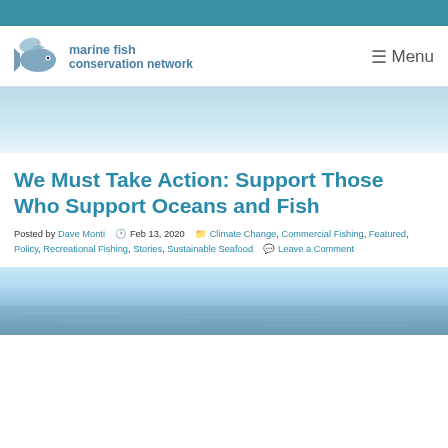marine fish conservation network
We Must Take Action: Support Those Who Support Oceans and Fish
Posted by Dave Monti  Feb 13, 2020  Climate Change, Commercial Fishing, Featured, Policy, Recreational Fishing, Stories, Sustainable Seafood  Leave a Comment
[Figure (photo): Ocean horizon photo showing calm blue water and sky]